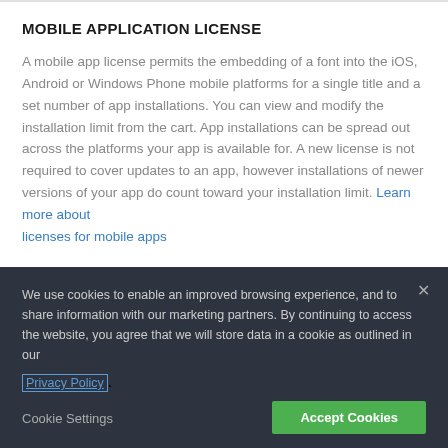MOBILE APPLICATION LICENSE
A mobile app license permits the embedding of a font into the iOS, Android or Windows Phone mobile platforms for a single title and a set number of app installations. You can view and modify the installation limit from the cart. App installations can be spread out across the platforms your app is available for. A new license is not required to cover updates to an app, however installations of newer versions of your app do count toward your installation limit. Learn more about licenses for mobile apps
We use cookies to enable an improved browsing experience, and to share information with our marketing partners. By continuing to access the website, you agree that we will store data in a cookie as outlined in our Privacy Policy.
Cookie Settings   Accept Cookies